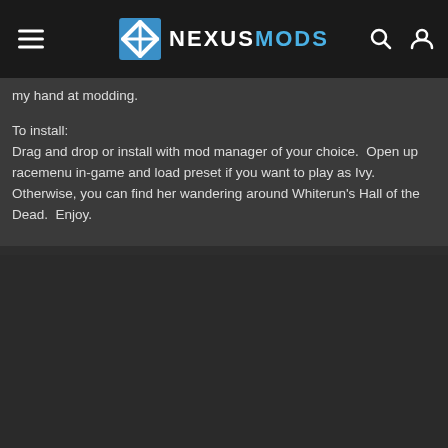NEXUSMODS
my hand at modding.
To install:
Drag and drop or install with mod manager of your choice.  Open up racemenu in-game and load preset if you want to play as Ivy.  Otherwise, you can find her wandering around Whiterun's Hall of the Dead.  Enjoy.